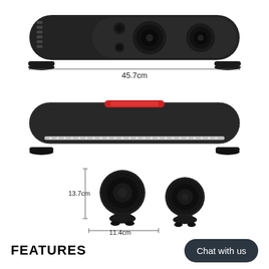[Figure (photo): Front view of a cylindrical black speaker bar with multiple speaker drivers and control buttons, showing width dimension of 45.7cm]
45.7cm
[Figure (photo): Side/angled view of the same black cylindrical speaker bar with red handle and LED light strip along the bottom]
[Figure (photo): Two black round speaker pods/satellites with stands, showing dimensions 13.7cm height and 11.4cm width]
13.7cm
11.4cm
FEATURES